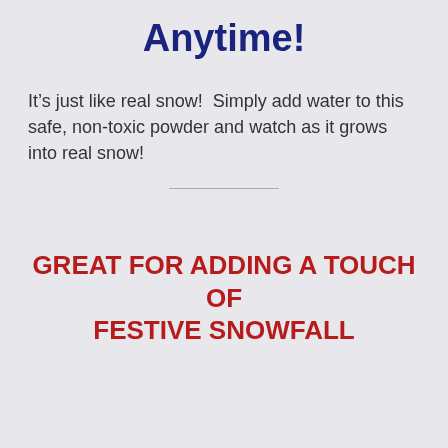Anytime!
It's just like real snow!  Simply add water to this safe, non-toxic powder and watch as it grows into real snow!
GREAT FOR ADDING A TOUCH OF FESTIVE SNOWFALL